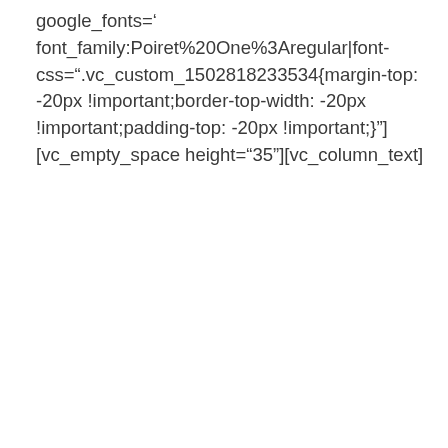google_fonts= font_family:Poiret%20One%3Aregular|font-css=".vc_custom_1502818233534{margin-top: -20px !important;border-top-width: -20px !important;padding-top: -20px !important;}"][vc_empty_space height="35"][vc_column_text]